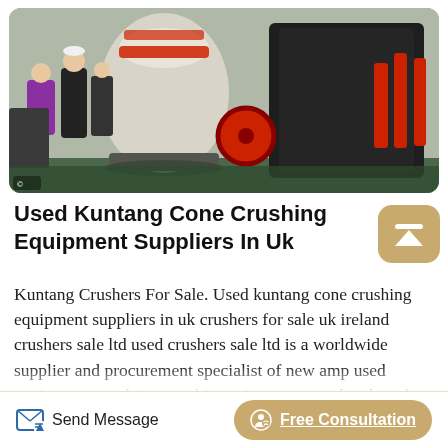[Figure (photo): Industrial factory floor showing large cone crushing machines. Workers in hard hats and a woman in purple jacket visible on left. Large white cone-shaped crushers in center, black heavy machinery on right with red accents. Red circular wheel visible in middle ground.]
Used Kuntang Cone Crushing Equipment Suppliers In Uk
Kuntang Crushers For Sale. Used kuntang cone crushing equipment suppliers in uk crushers for sale uk ireland crushers sale ltd used crushers sale ltd is a worldwide supplier and procurement specialist of new amp used equipment supplying machinery into quarry related markets and also into the recycling industries for the reclamation